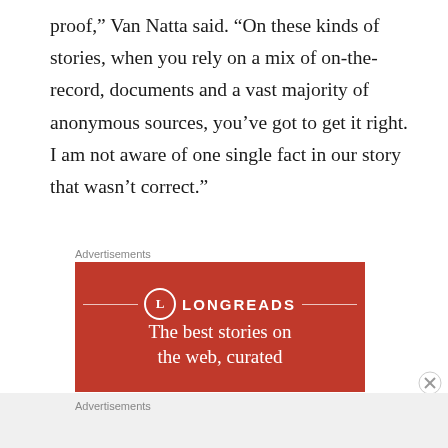proof,” Van Natta said. “On these kinds of stories, when you rely on a mix of on-the-record, documents and a vast majority of anonymous sources, you’ve got to get it right. I am not aware of one single fact in our story that wasn’t correct.”
Advertisements
[Figure (other): Longreads advertisement banner with red background, circular L logo, and text 'The best stories on the...']
Advertisements